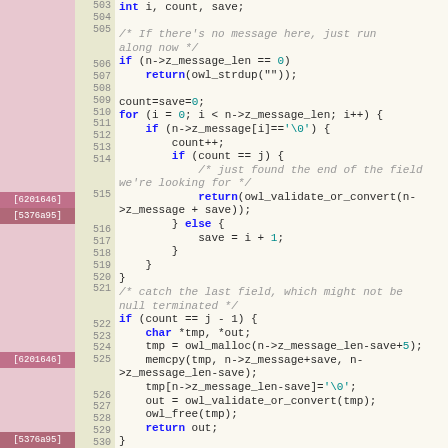[Figure (screenshot): Source code listing lines 503-530 showing C code for message parsing, with line numbers, git blame annotations in pink/rose left gutter, and syntax highlighting on a cream background.]